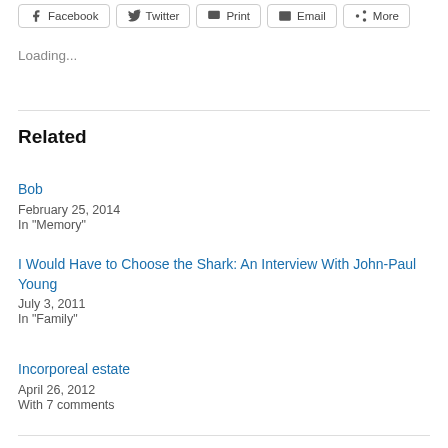Facebook  Twitter  Print  Email  More
Loading...
Related
Bob
February 25, 2014
In "Memory"
I Would Have to Choose the Shark: An Interview With John-Paul Young
July 3, 2011
In "Family"
Incorporeal estate
April 26, 2012
With 7 comments